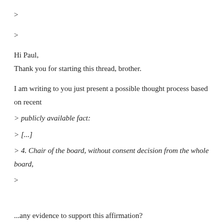>
>
Hi Paul,
Thank you for starting this thread, brother.
I am writing to you just present a possible thought process based on recent
> publicly available fact:
> [...]
> 4. Chair of the board, without consent decision from the whole board,
>
...any evidence to support this affirmation?